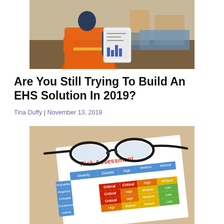[Figure (photo): Construction worker in orange high-visibility vest holding a tablet/clipboard, viewed from behind at a construction site.]
Are You Still Trying To Build An EHS Solution In 2019?
Tina Duffy | November 13, 2019
[Figure (photo): A Risk Assessment matrix/chart on paper with glasses resting on top. The matrix shows severity and probability axes with cells labeled Disaster, Critical, High, Medium, Minimal, Low in various colors (red, orange, yellow, green, blue).]